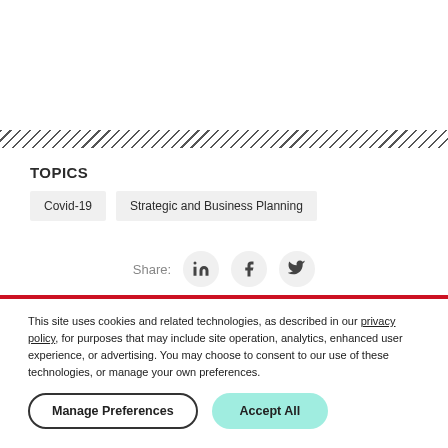TOPICS
Covid-19
Strategic and Business Planning
Share:
This site uses cookies and related technologies, as described in our privacy policy, for purposes that may include site operation, analytics, enhanced user experience, or advertising. You may choose to consent to our use of these technologies, or manage your own preferences.
Manage Preferences
Accept All